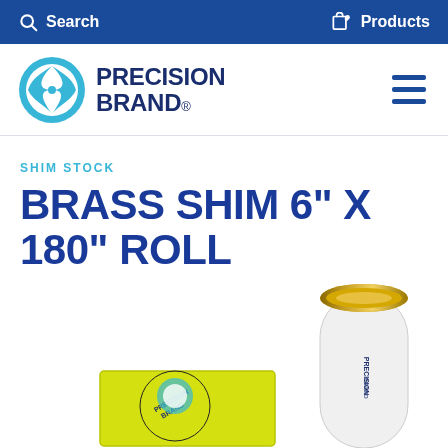Search  Products
[Figure (logo): Precision Brand logo with circular compass-like icon and bold text PRECISION BRAND.]
SHIM STOCK
BRASS SHIM 6" X 180" ROLL
[Figure (photo): A roll of brass shim stock partially unrolled, showing gold metallic material on a white cylindrical roll with Precision Brand label, and a yellow product box in the foreground.]